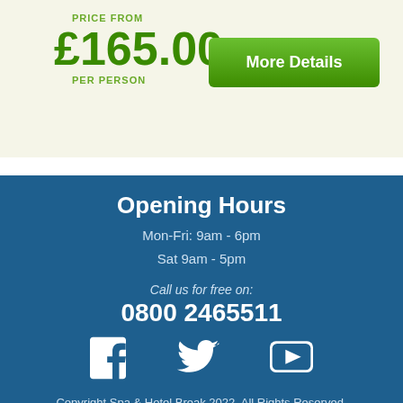PRICE FROM
£165.00
PER PERSON
[Figure (other): Green 'More Details' button]
Opening Hours
Mon-Fri: 9am - 6pm
Sat 9am - 5pm
Call us for free on:
0800 2465511
[Figure (illustration): Social media icons: Facebook, Twitter, YouTube]
Copyright Spa & Hotel Break 2022. All Rights Reserved.